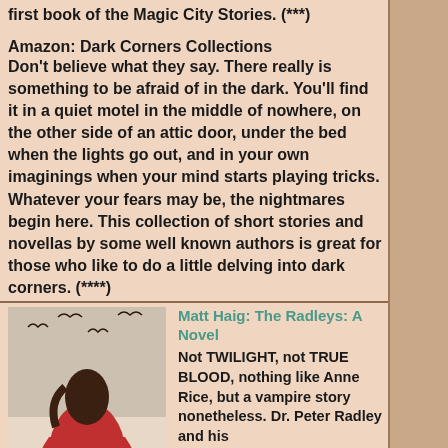first book of the Magic City Stories. (***)
Amazon: Dark Corners Collections Don't believe what they say. There really is something to be afraid of in the dark. You'll find it in a quiet motel in the middle of nowhere, on the other side of an attic door, under the bed when the lights go out, and in your own imaginings when your mind starts playing tricks. Whatever your fears may be, the nightmares begin here. This collection of short stories and novellas by some well known authors is great for those who like to do a little delving into dark corners. (****)
[Figure (illustration): Book cover of The Radleys by Matt Haig showing a girl in a red dress with bats flying overhead]
Matt Haig: The Radleys: A Novel
Not TWILIGHT, not TRUE BLOOD, nothing like Anne Rice, but a vampire story nonetheless. Dr. Peter Radley and his